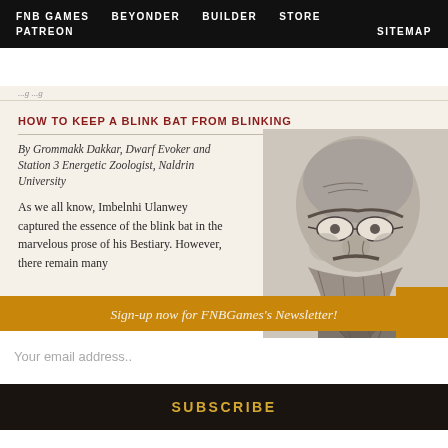FNB GAMES   BEYONDER   BUILDER   STORE   PATREON   SITEMAP
HOW TO KEEP A BLINK BAT FROM BLINKING
By Grommakk Dakkar, Dwarf Evoker and Station 3 Energetic Zoologist, Naldrin University
As we all know, Imbelnhi Ulanwey captured the essence of the blink bat in the marvelous prose of his Bestiary. However, there remain many
[Figure (illustration): Pencil sketch illustration of a dwarf with glasses and a long beard]
Sign-up now for FNBGames's Newsletter!
Your email address..
SUBSCRIBE